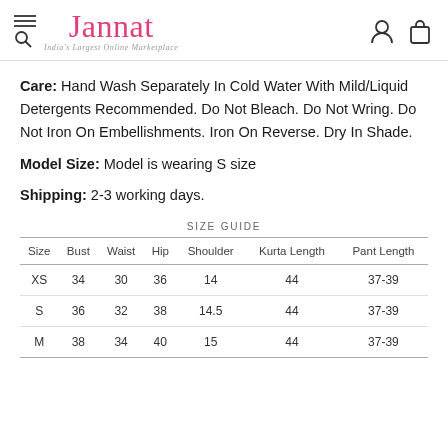Jannat — India's Largest Online Marketplace
Care: Hand Wash Separately In Cold Water With Mild/Liquid Detergents Recommended. Do Not Bleach. Do Not Wring. Do Not Iron On Embellishments. Iron On Reverse. Dry In Shade.
Model Size: Model is wearing S size
Shipping: 2-3 working days.
SIZE GUIDE
| Size | Bust | Waist | Hip | Shoulder | Kurta Length | Pant Length |
| --- | --- | --- | --- | --- | --- | --- |
| XS | 34 | 30 | 36 | 14 | 44 | 37-39 |
| S | 36 | 32 | 38 | 14.5 | 44 | 37-39 |
| M | 38 | 34 | 40 | 15 | 44 | 37-39 |